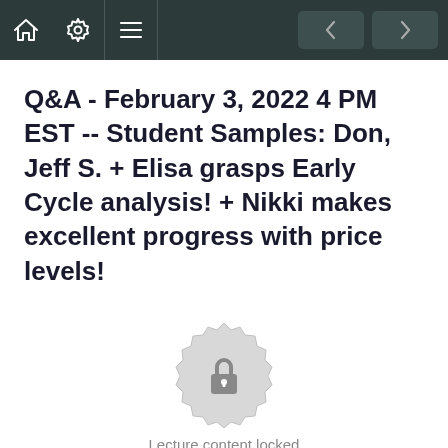Navigation bar with home, settings, menu icons and back/forward buttons
Q&A - February 3, 2022 4 PM EST -- Student Samples: Don, Jeff S. + Elisa grasps Early Cycle analysis! + Nikki makes excellent progress with price levels!
[Figure (illustration): A locked badge/seal icon indicating locked lecture content]
Lecture content locked